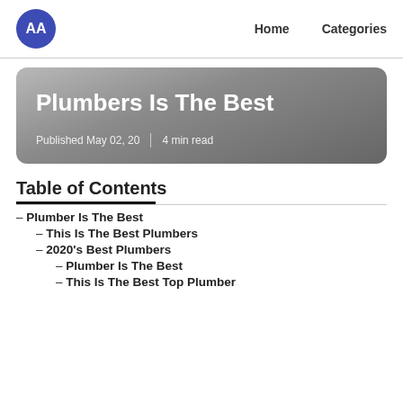AA  Home  Categories
[Figure (other): Hero banner card with gradient gray background showing article title and metadata]
Plumbers Is The Best
Published May 02, 20 | 4 min read
Table of Contents
– Plumber Is The Best
– This Is The Best Plumbers
– 2020's Best Plumbers
– Plumber Is The Best
– This Is The Best Top Plumber